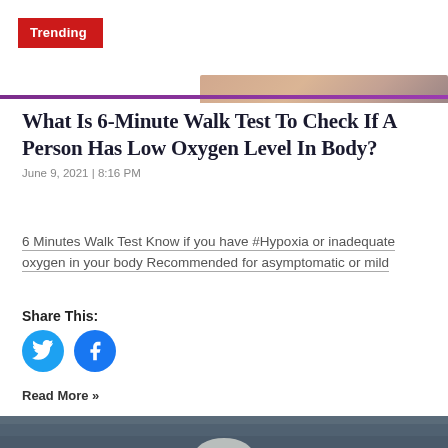Trending
[Figure (photo): Partial top image strip showing skin tone, cropped at top of article section]
What Is 6-Minute Walk Test To Check If A Person Has Low Oxygen Level In Body?
June 9, 2021 | 8:16 PM
6 Minutes Walk Test Know if you have #Hypoxia or inadequate oxygen in your body Recommended for asymptomatic or mild
Share This:
[Figure (illustration): Twitter bird icon (cyan circle) and Facebook 'f' icon (blue circle) social share buttons]
Read More »
[Figure (photo): Bottom photo showing cloudy sky with dark storm clouds, partial view of a white structure below]